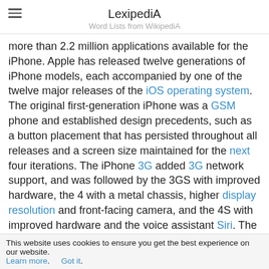LexipediA
Word Lists from WikipediA
more than 2.2 million applications available for the iPhone. Apple has released twelve generations of iPhone models, each accompanied by one of the twelve major releases of the iOS operating system. The original first-generation iPhone was a GSM phone and established design precedents, such as a button placement that has persisted throughout all releases and a screen size maintained for the next four iterations. The iPhone 3G added 3G network support, and was followed by the 3GS with improved hardware, the 4 with a metal chassis, higher display resolution and front-facing camera, and the 4S with improved hardware and the voice assistant Siri. The iPhone 5 featured a taller, 4-inch display and Apple's newly introduced Lightning connector. In 2013, Apple released the 5S with improved hardware and a
This website uses cookies to ensure you get the best experience on our website. Learn more.   Got it.